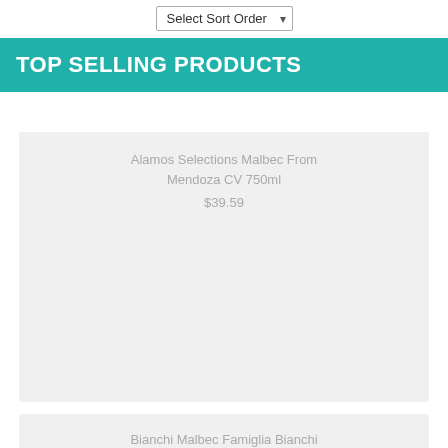Select Sort Order
TOP SELLING PRODUCTS
Alamos Selections Malbec From Mendoza CV 750ml
$39.59
Bianchi Malbec Famiglia Bianchi Mendoza